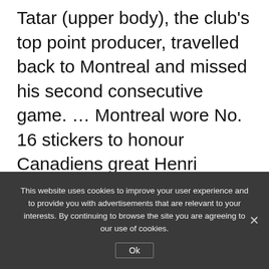Tatar (upper body), the club's top point producer, travelled back to Montreal and missed his second consecutive game. … Montreal wore No. 16 stickers to honour Canadiens great Henri Richard, who died at age 84 on Friday. Richard played his entire 20-season career with Montreal, won an NHL-record 11 Stanley Cups and was elected into the Hockey Hall of Fame in 1979. … The teams' No. 1 goalies – Montreal's Carey Price
This website uses cookies to improve your user experience and to provide you with advertisements that are relevant to your interests. By continuing to browse the site you are agreeing to our use of cookies.
Ok